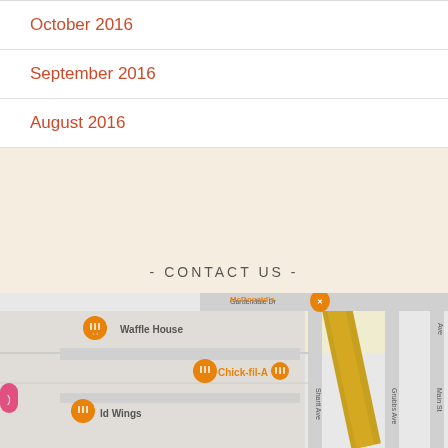October 2016
September 2016
August 2016
- CONTACT US -
[Figure (map): Google Maps view showing Waffle House, Chick-fil-A, McDonald's, and Buffalo Wild Wings locations with streets Sharit Ave, Grubbs Ave, Main St, and Gardendale Dr visible.]